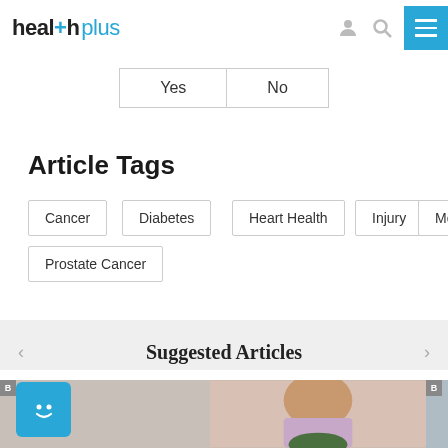health plus
Yes  No
Article Tags
Cancer
Diabetes
Heart Health
Injury
Men
Prostate Cancer
Suggested Articles
[Figure (photo): Health plus website screenshot showing article tags section and suggested articles carousel with images of people and a chat icon]